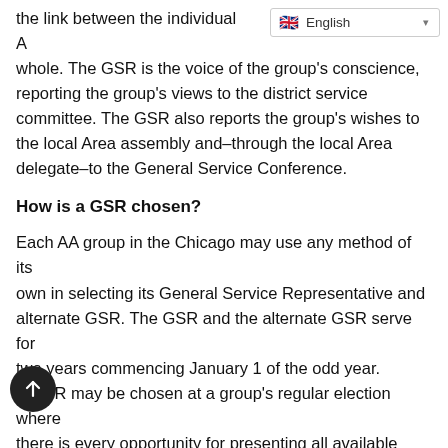the link between the individual AA group and AA as a whole. The GSR is the voice of the group's conscience, reporting the group's views to the district service committee. The GSR also reports the group's wishes to the local Area assembly and–through the local Area delegate–to the General Service Conference.
How is a GSR chosen?
Each AA group in the Chicago may use any method of its own in selecting its General Service Representative and alternate GSR. The GSR and the alternate GSR serve for two years commencing January 1 of the odd year. A GSR may be chosen at a group's regular election where there is every opportunity for presenting all available candidates from the group. Since new GSRs keep AA vital and productive, it is suggested that GSRs not succeed themselves. Each GSR (or alternate GSR) should have AA experience, stability (usually at least two years of continuous